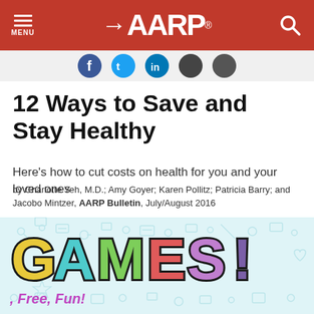AARP — MENU / Search
[Figure (screenshot): Social media sharing icon buttons (Facebook, Twitter, LinkedIn, and others) in a row]
12 Ways to Save and Stay Healthy
Here's how to cut costs on health for you and your loved ones
by Charlotte Yeh, M.D.; Amy Goyer; Karen Pollitz; Patricia Barry; and Jacobo Mintzer, AARP Bulletin, July/August 2016
[Figure (illustration): Colorful GAMES! banner with large multicolored letters on a light blue doodle-patterned background. Text at bottom-left reads ', Free, Fun!' in purple italic.]